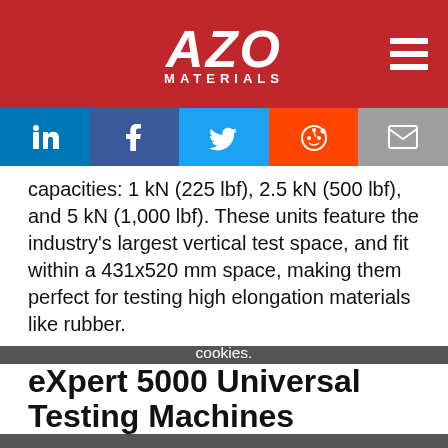AZO MATERIALS
[Figure (other): Social sharing buttons: LinkedIn, Facebook, Twitter, Reddit, Email]
capacities: 1 kN (225 lbf), 2.5 kN (500 lbf), and 5 kN (1,000 lbf). These units feature the industry's largest vertical test space, and fit within a 431x520 mm space, making them perfect for testing high elongation materials like rubber.
eXpert 5000 Universal Testing Machines
We use cookies to enhance your experience. By continuing to browse this site you agree to our use of cookies. More info. Accept Cookie Settings